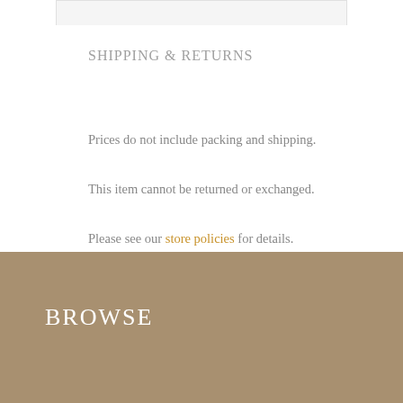SHIPPING & RETURNS
Prices do not include packing and shipping.
This item cannot be returned or exchanged.
Please see our store policies for details.
PAYMENT METHODS
[Figure (illustration): Three payment method card icons: VISA, Mastercard, and Discover]
BROWSE